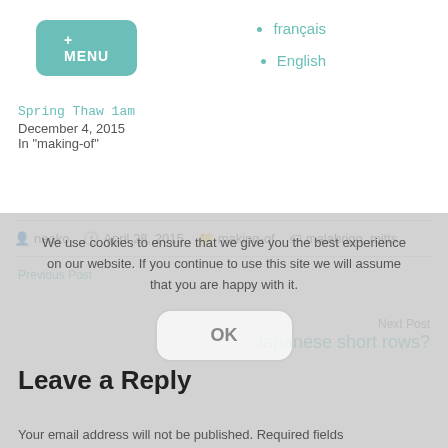[Figure (other): Teal/green rounded rectangle button with '+ MENU' text in white]
français
English
Spring Thaw 1am
December 4, 2015
In "making-of"
naoko   April 28, 2015   making-of   malabrigo, mitts
Previous Post
Hello world!
We use cookies to ensure that we give you the best experience on our website. If you continue to use this site we will assume that you are happy with it.
Next Post
Japanese short rows?
Leave a Reply
Your email address will not be published. Required fields